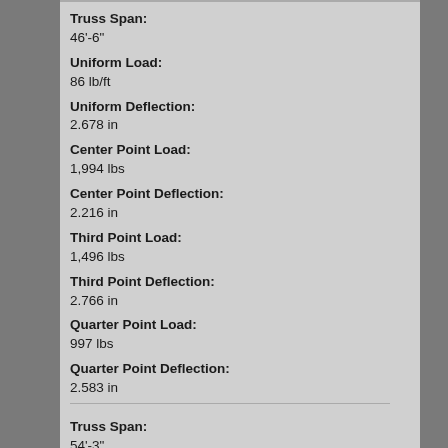Truss Span: 46'-6"
Uniform Load: 86 lb/ft
Uniform Deflection: 2.678 in
Center Point Load: 1,994 lbs
Center Point Deflection: 2.216 in
Third Point Load: 1,496 lbs
Third Point Deflection: 2.766 in
Quarter Point Load: 997 lbs
Quarter Point Deflection: 2.583 in
Truss Span: 54'-3"